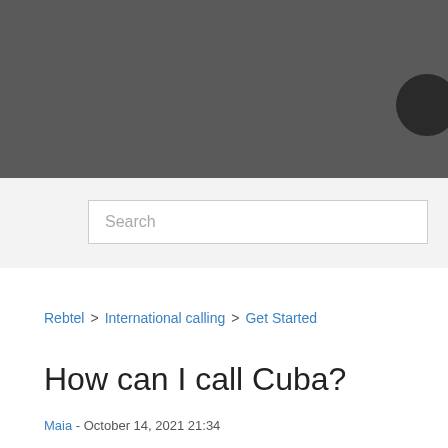[Figure (other): Dark grey header banner with a dark circular avatar/icon element partially visible at the right edge]
Search
Rebtel > International calling > Get Started
How can I call Cuba?
Maia - October 14, 2021 21:34